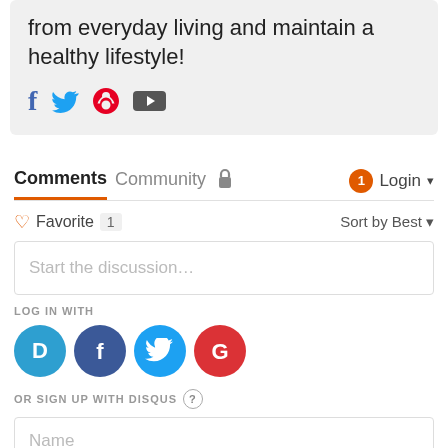from everyday living and maintain a healthy lifestyle!
[Figure (illustration): Social media icons: Facebook (f), Twitter (bird), Pinterest (P), YouTube (play button)]
Comments  Community  Login
Favorite 1   Sort by Best
Start the discussion…
LOG IN WITH
[Figure (logo): Login circles: Disqus (D), Facebook (f), Twitter bird, Google (G)]
OR SIGN UP WITH DISQUS
Name